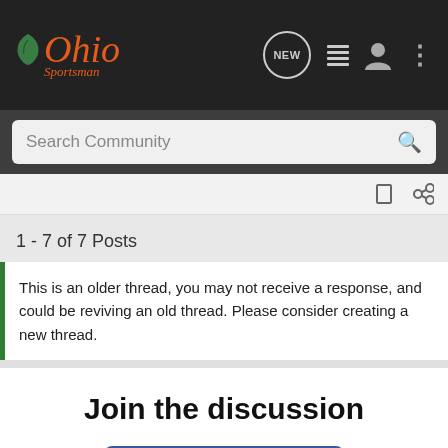Ohio Sportsman - NEW - Search Community
1 - 7 of 7 Posts
This is an older thread, you may not receive a response, and could be reviving an old thread. Please consider creating a new thread.
Join the discussion
Continue with Facebook
[Figure (screenshot): Advertisement banner for The New 2022 Silverado by Chevrolet with Explore button]